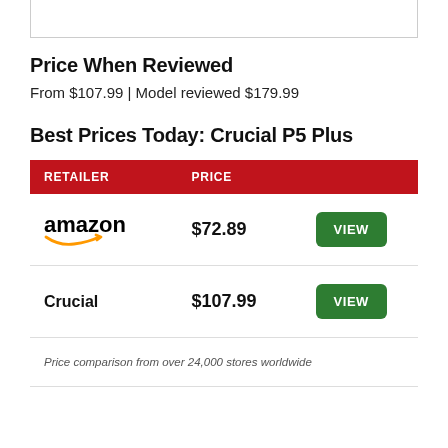[Figure (other): Top bordered box (partial, cut off at top)]
Price When Reviewed
From $107.99 | Model reviewed $179.99
Best Prices Today: Crucial P5 Plus
| RETAILER | PRICE |  |
| --- | --- | --- |
| amazon | $72.89 | VIEW |
| Crucial | $107.99 | VIEW |
Price comparison from over 24,000 stores worldwide